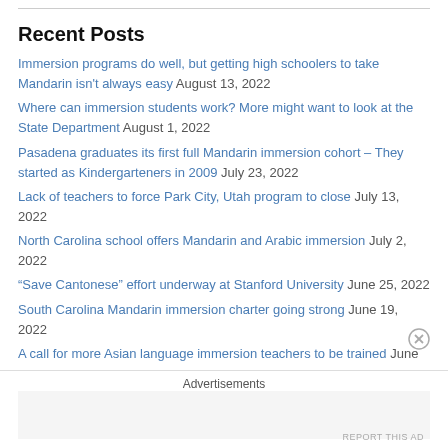Recent Posts
Immersion programs do well, but getting high schoolers to take Mandarin isn't always easy August 13, 2022
Where can immersion students work? More might want to look at the State Department August 1, 2022
Pasadena graduates its first full Mandarin immersion cohort – They started as Kindergarteners in 2009 July 23, 2022
Lack of teachers to force Park City, Utah program to close July 13, 2022
North Carolina school offers Mandarin and Arabic immersion July 2, 2022
“Save Cantonese” effort underway at Stanford University June 25, 2022
South Carolina Mandarin immersion charter going strong June 19, 2022
A call for more Asian language immersion teachers to be trained June
Advertisements
REPORT THIS AD